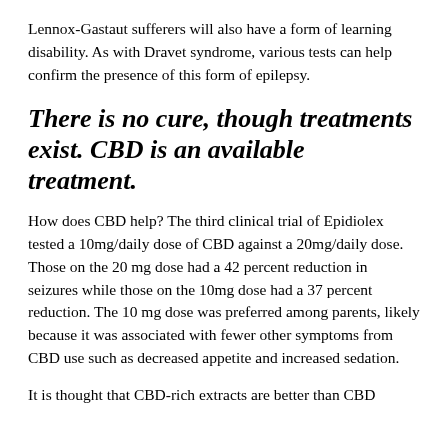Lennox-Gastaut sufferers will also have a form of learning disability. As with Dravet syndrome, various tests can help confirm the presence of this form of epilepsy.
There is no cure, though treatments exist. CBD is an available treatment.
How does CBD help? The third clinical trial of Epidiolex tested a 10mg/daily dose of CBD against a 20mg/daily dose. Those on the 20 mg dose had a 42 percent reduction in seizures while those on the 10mg dose had a 37 percent reduction. The 10 mg dose was preferred among parents, likely because it was associated with fewer other symptoms from CBD use such as decreased appetite and increased sedation.
It is thought that CBD-rich extracts are better than CBD